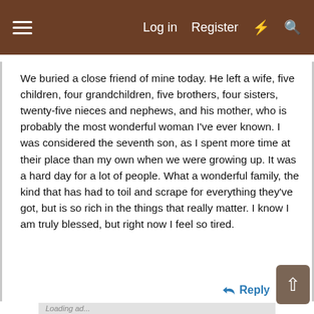≡  Log in  Register  ⚡  🔍
We buried a close friend of mine today. He left a wife, five children, four grandchildren, five brothers, four sisters, twenty-five nieces and nephews, and his mother, who is probably the most wonderful woman I've ever known. I was considered the seventh son, as I spent more time at their place than my own when we were growing up. It was a hard day for a lot of people. What a wonderful family, the kind that has had to toil and scrape for everything they've got, but is so rich in the things that really matter. I know I am truly blessed, but right now I feel so tired.
↩ Reply